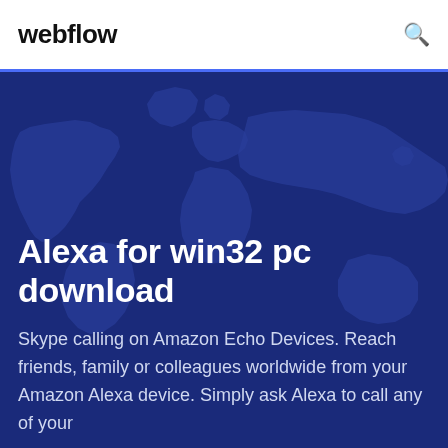webflow
Alexa for win32 pc download
Skype calling on Amazon Echo Devices. Reach friends, family or colleagues worldwide from your Amazon Alexa device. Simply ask Alexa to call any of your